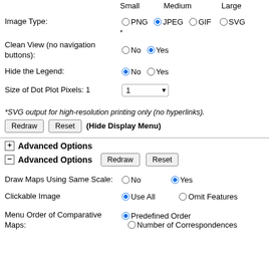Small   Medium   Large
Image Type: PNG (radio) JPEG (selected) GIF SVG *
Clean View (no navigation buttons): No JPEG (selected) Yes
Hide the Legend: No (selected) Yes
Size of Dot Plot Pixels: 1  [dropdown: 1]
*SVG output for high-resolution printing only (no hyperlinks).
Redraw  Reset  (Hide Display Menu)
⊞ Advanced Options
⊟ Advanced Options  Redraw  Reset
Draw Maps Using Same Scale: No  Yes (selected)
Clickable Image  Use All (selected)  Omit Features
Menu Order of Comparative Maps: Predefined Order (selected)  Number of Correspondences